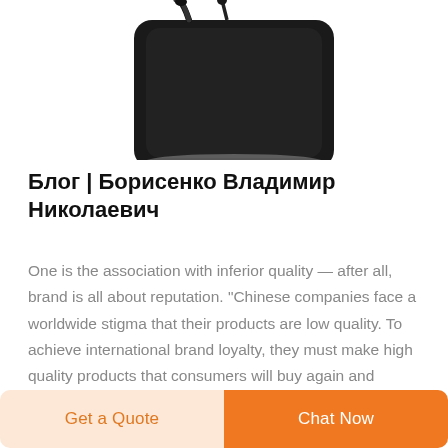[Figure (photo): Partial top view of a black leather bag or pouch with a hanging strap, shown against a white background, cropped at the top of the page.]
Блог | Борисенко Владимир Николаевич
One is the association with inferior quality — after all, brand is all about reputation. "Chinese companies face a worldwide stigma that their products are low quality. To achieve international brand loyalty, they must make high quality products that consumers will buy again and again," said
Get a Quote  Chat Now